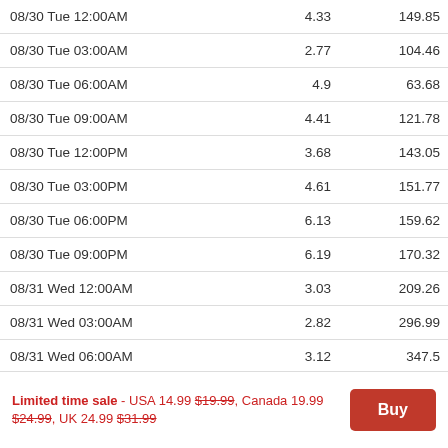| Date/Time |  |  |
| --- | --- | --- |
| 08/30 Tue 12:00AM | 4.33 | 149.85 |
| 08/30 Tue 03:00AM | 2.77 | 104.46 |
| 08/30 Tue 06:00AM | 4.9 | 63.68 |
| 08/30 Tue 09:00AM | 4.41 | 121.78 |
| 08/30 Tue 12:00PM | 3.68 | 143.05 |
| 08/30 Tue 03:00PM | 4.61 | 151.77 |
| 08/30 Tue 06:00PM | 6.13 | 159.62 |
| 08/30 Tue 09:00PM | 6.19 | 170.32 |
| 08/31 Wed 12:00AM | 3.03 | 209.26 |
| 08/31 Wed 03:00AM | 2.82 | 296.99 |
| 08/31 Wed 06:00AM | 3.12 | 347.5 |
| 08/31 Wed 09:00AM | 2.71 | 12.65 |
| 08/31 Wed 12:00PM | 2.74 | 45 |
Limited time sale - USA 14.99 $19.99, Canada 19.99 $24.99, UK 24.99 $31.99